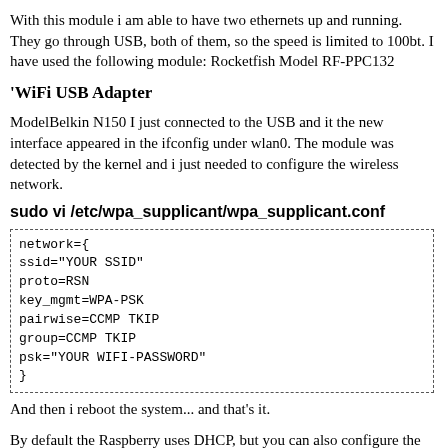With this module i am able to have two ethernets up and running. They go through USB, both of them, so the speed is limited to 100bt. I have used the following module: Rocketfish Model RF-PPC132
'WiFi USB Adapter
ModelBelkin N150 I just connected to the USB and it the new interface appeared in the ifconfig under wlan0. The module was detected by the kernel and i just needed to configure the wireless network.
sudo vi /etc/wpa_supplicant/wpa_supplicant.conf
network={
ssid="YOUR SSID"
proto=RSN
key_mgmt=WPA-PSK
pairwise=CCMP TKIP
group=CCMP TKIP
psk="YOUR WIFI-PASSWORD"
}
And then i reboot the system... and that's it.
By default the Raspberry uses DHCP, but you can also configure the WiFi interface as Static: